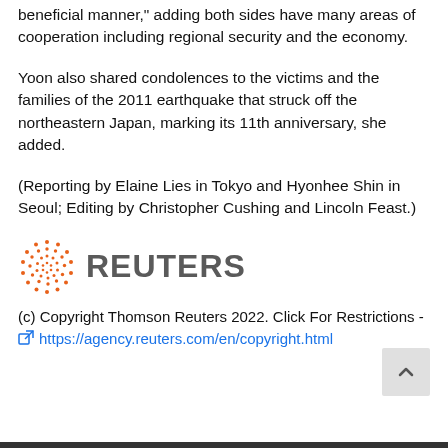beneficial manner," adding both sides have many areas of cooperation including regional security and the economy.
Yoon also shared condolences to the victims and the families of the 2011 earthquake that struck off the northeastern Japan, marking its 11th anniversary, she added.
(Reporting by Elaine Lies in Tokyo and Hyonhee Shin in Seoul; Editing by Christopher Cushing and Lincoln Feast.)
[Figure (logo): Reuters logo with dotted globe icon and REUTERS wordmark in gray]
(c) Copyright Thomson Reuters 2022. Click For Restrictions -
https://agency.reuters.com/en/copyright.html